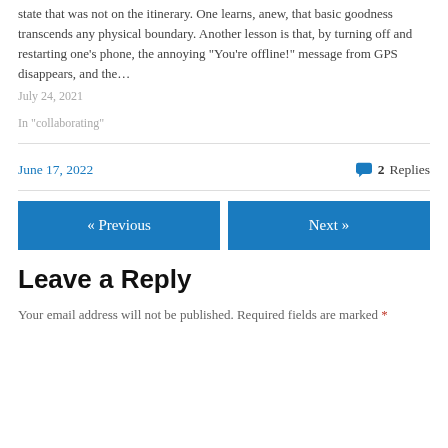state that was not on the itinerary. One learns, anew, that basic goodness transcends any physical boundary. Another lesson is that, by turning off and restarting one's phone, the annoying "You're offline!" message from GPS disappears, and the…
July 24, 2021
In "collaborating"
June 17, 2022
2 Replies
« Previous
Next »
Leave a Reply
Your email address will not be published. Required fields are marked *